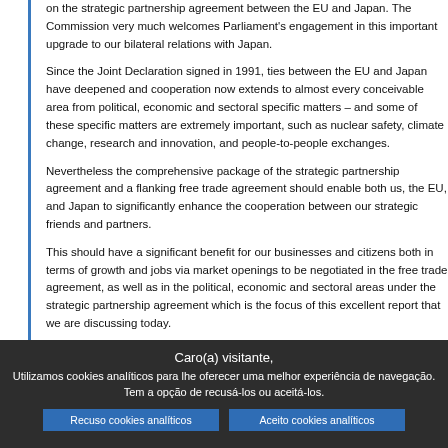on the strategic partnership agreement between the EU and Japan. The Commission very much welcomes Parliament's engagement in this important upgrade to our bilateral relations with Japan.
Since the Joint Declaration signed in 1991, ties between the EU and Japan have deepened and cooperation now extends to almost every conceivable area from political, economic and sectoral specific matters – and some of these specific matters are extremely important, such as nuclear safety, climate change, research and innovation, and people-to-people exchanges.
Nevertheless the comprehensive package of the strategic partnership agreement and a flanking free trade agreement should enable both us, the EU, and Japan to significantly enhance the cooperation between our strategic friends and partners.
This should have a significant benefit for our businesses and citizens both in terms of growth and jobs via market openings to be negotiated in the free trade agreement, as well as in the political, economic and sectoral areas under the strategic partnership agreement which is the focus of this excellent report that we are discussing today.
While we obviously cannot predict exactly what will flow from the negotiations, as the negotiations are still very much a work in progress, given the range of common societal challenges that th...
Caro(a) visitante,
Utilizamos cookies analíticos para lhe oferecer uma melhor experiência de navegação. Tem a opção de recusá-los ou aceitá-los.